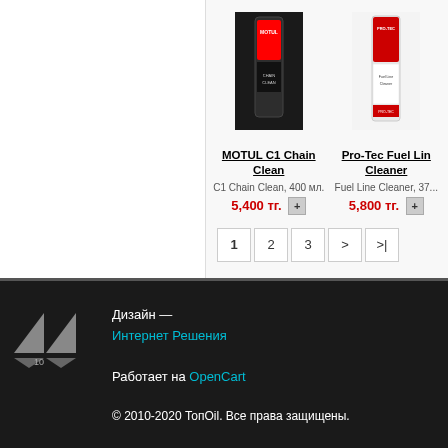[Figure (photo): MOTUL C1 Chain Clean product image - black aerosol can]
MOTUL C1 Chain Clean
C1 Chain Clean, 400 мл.
5,400 тг. +
[Figure (photo): Pro-Tec Fuel Line Cleaner product image - red and white can]
Pro-Tec Fuel Line Cleaner
Fuel Line Cleaner, 37...
5,800 тг. +
1 2 3 > >|
[Figure (logo): Internet Reshenia logo - triangular shapes]
Дизайн — Интернет Решения
Работает на OpenCart
© 2010-2020 ТопОil. Все права защищены.